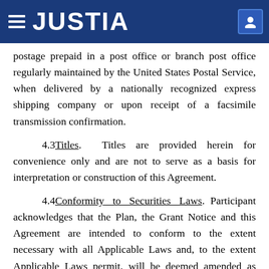JUSTIA
postage prepaid in a post office or branch post office regularly maintained by the United States Postal Service, when delivered by a nationally recognized express shipping company or upon receipt of a facsimile transmission confirmation.
4.3 Titles. Titles are provided herein for convenience only and are not to serve as a basis for interpretation or construction of this Agreement.
4.4 Conformity to Securities Laws. Participant acknowledges that the Plan, the Grant Notice and this Agreement are intended to conform to the extent necessary with all Applicable Laws and, to the extent Applicable Laws permit, will be deemed amended as necessary to conform to Applicable Laws.